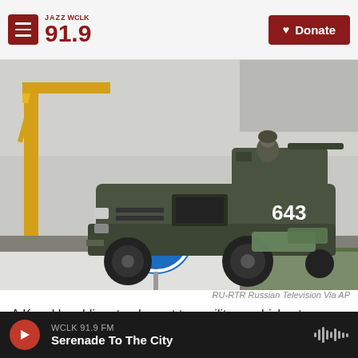JAZZ WCLK 91.9 — Donate
[Figure (photo): A Kazakh soldier stands next to a military armored vehicle numbered 643 at a checkpoint, with a blue directional road sign visible and a yellow crane in the background.]
RU-RTR Russian Television Via AP
A Kazakh soldier stands next to a military vehicle at a check point in Kazakhstan on Friday.
WCLK 91.9 FM — Serenade To The City